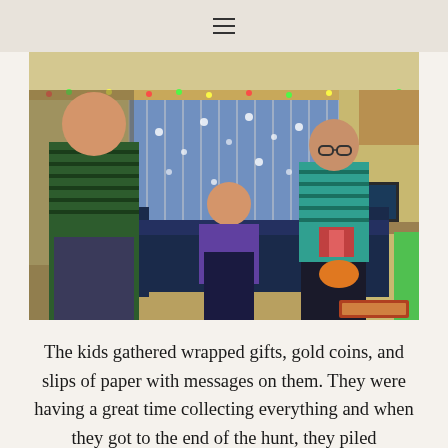≡
[Figure (photo): Indoor Christmas scene: a teenager in a green striped polo shirt stands on the left, a woman in purple sits on a dark couch in the middle, and a boy in a teal striped shirt stands on the right holding something. Christmas lights decorate the window blinds in the background. A computer monitor and desk are visible in the right background.]
The kids gathered wrapped gifts, gold coins, and slips of paper with messages on them. They were having a great time collecting everything and when they got to the end of the hunt, they piled